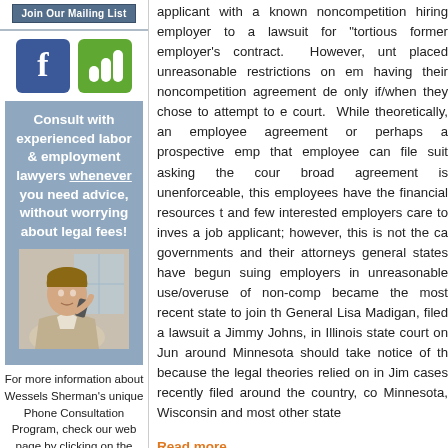[Figure (other): Facebook and blog social media icon buttons]
Consult with experienced labor & employment lawyers whenever you need advice, without worrying about legal fees!
[Figure (photo): Woman talking on phone at desk, lawyer consultation image]
For more information about Wessels Sherman's unique Phone Consultation Program, check our web page by clicking on the below link; or contact Tyler Birschbach at (952)
applicant with a known noncompetition hiring employer to a lawsuit for "tortious former employer's contract. However, until placed unreasonable restrictions on em having their noncompetition agreement de only if/when they chose to attempt to e court. While theoretically, an employee agreement or perhaps a prospective emp that employee can file suit asking the court broad agreement is unenforceable, this employees have the financial resources to and few interested employers care to inves a job applicant; however, this is not the ca governments and their attorneys general states have begun suing employers in unreasonable use/overuse of non-comp became the most recent state to join th General Lisa Madigan, filed a lawsuit a Jimmy Johns, in Illinois state court on Jun around Minnesota should take notice of th because the legal theories relied on in Jim cases recently filed around the country, co Minnesota, Wisconsin and most other state
Read more...
EEOC Releases Report Ad Workplace Harassment